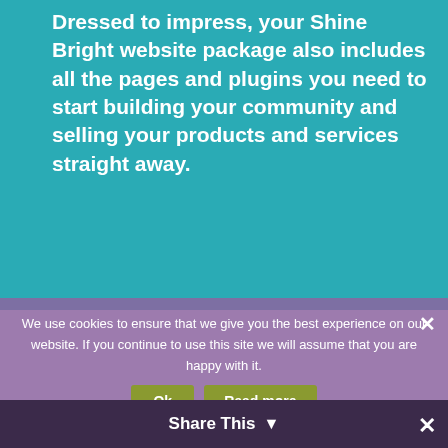Dressed to impress, your Shine Bright website package also includes all the pages and plugins you need to start building your community and selling your products and services straight away.
We use cookies to ensure that we give you the best experience on our website. If you continue to use this site we will assume that you are happy with it.
Share This